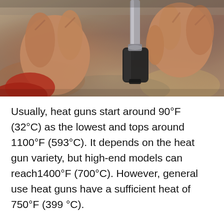[Figure (photo): Close-up photo of hands holding a heat gun tool, showing fingers gripping the nozzle/tip of the device against a blurred background.]
Usually, heat guns start around 90°F (32°C) as the lowest and tops around 1100°F (593°C). It depends on the heat gun variety, but high-end models can reach1400°F (700°C). However, general use heat guns have a sufficient heat of 750°F (399 °C).
[Figure (photo): Pink advertisement banner showing the word 'KINDNESS' in large white bold handwritten-style text on a hot pink background.]
[Figure (other): Bottom advertisement bar for True Food Kitchen showing 'Summer Corn Soup' with logo and navigation arrow icon.]